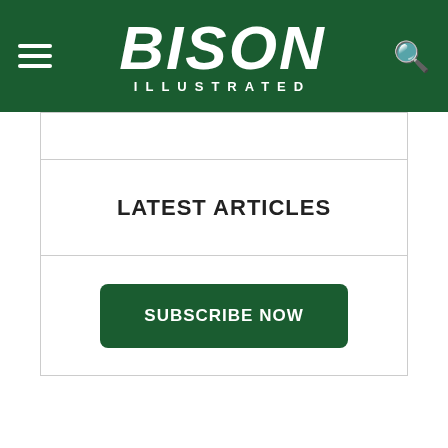Bison Illustrated
LATEST ARTICLES
SUBSCRIBE NOW